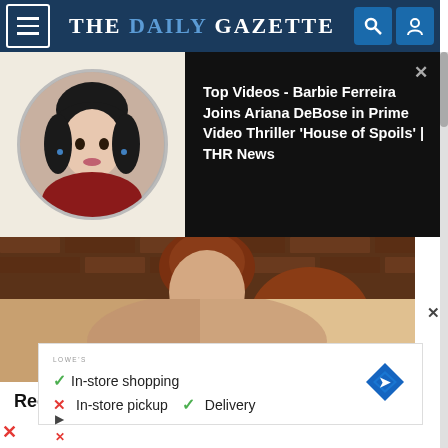THE DAILY GAZETTE
[Figure (photo): Video thumbnail showing a young woman with dark hair in a circle crop, on a beige background]
Top Videos - Barbie Ferreira Joins Ariana DeBose in Prime Video Thriller 'House of Spoils' | THR News
[Figure (photo): Close-up photo of Ree Drummond wearing black floral clothing with a turquoise necklace, against a brick background]
Ree Drummond Tearfully Says Goodbye
[Figure (photo): Partial photo strip with a beige/skin tone background]
[Figure (infographic): Advertisement showing Lowe's store information: checkmark In-store shopping, X In-store pickup, checkmark Delivery, with a blue diamond navigation icon]